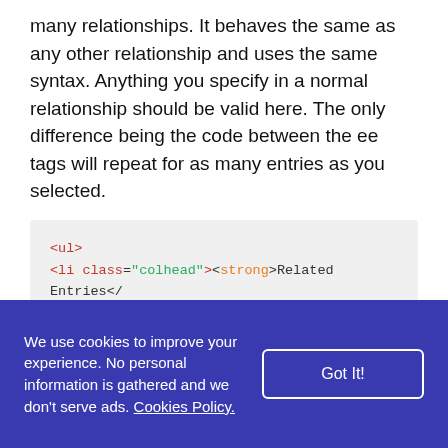many relationships. It behaves the same as any other relationship and uses the same syntax. Anything you specify in a normal relationship should be valid here. The only difference being the code between the ee tags will repeat for as many entries as you selected.
<ul>
<li class="colhead"><strong>Related Entries</
{related_entries id="mrelation"}
<li>{title}</li>
{/related_entries}
</ul>
We use cookies to improve your experience. No personal information is gathered and we don't serve ads. Cookies Policy.